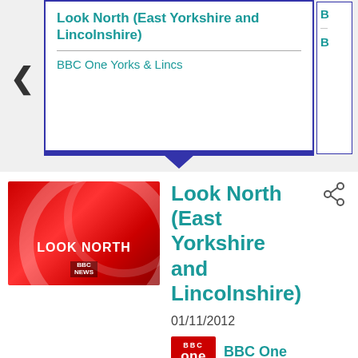Look North (East Yorkshire and Lincolnshire)
BBC One Yorks & Lincs
[Figure (screenshot): Look North programme thumbnail - red background with LOOK NORTH text and BBC News logo]
Look North (East Yorkshire and Lincolnshire)
01/11/2012
BBC One